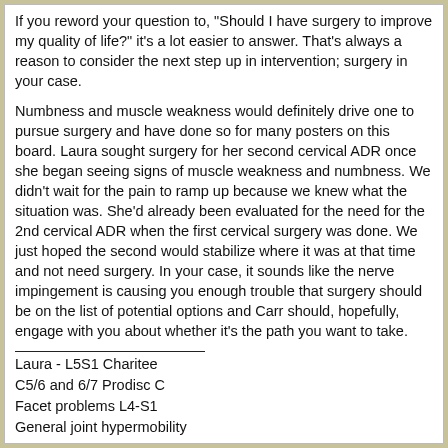If you reword your question to, "Should I have surgery to improve my quality of life?" it's a lot easier to answer. That's always a reason to consider the next step up in intervention; surgery in your case.
Numbness and muscle weakness would definitely drive one to pursue surgery and have done so for many posters on this board. Laura sought surgery for her second cervical ADR once she began seeing signs of muscle weakness and numbness. We didn't wait for the pain to ramp up because we knew what the situation was. She'd already been evaluated for the need for the 2nd cervical ADR when the first cervical surgery was done. We just hoped the second would stabilize where it was at that time and not need surgery. In your case, it sounds like the nerve impingement is causing you enough trouble that surgery should be on the list of potential options and Carr should, hopefully, engage with you about whether it's the path you want to take.
Laura - L5S1 Charitee
C5/6 and 6/7 Prodisc C
Facet problems L4-S1
General joint hypermobility
Jim - minor C5-6 instability and facet damage, currently using regenerative medicine to address
"There are many Annapurnas in the lives of men" Maurice Herzog
Last edited by annapurna; 02-23-2022 at 09:04 AM. Reason: spelling